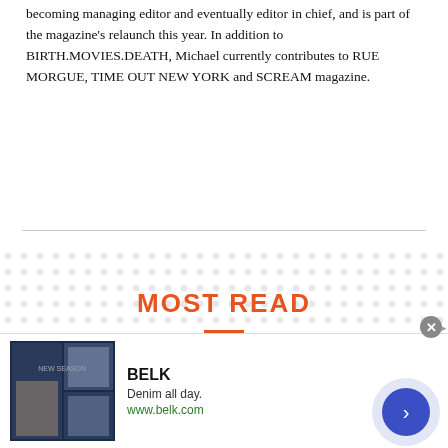becoming managing editor and eventually editor in chief, and is part of the magazine's relaunch this year. In addition to BIRTH.MOVIES.DEATH, Michael currently contributes to RUE MORGUE, TIME OUT NEW YORK and SCREAM magazine.
MOST READ
1
The Tragic And TALENTED MR. RIPLEY | Birth.Movies.Death.
2
[Figure (screenshot): Advertisement banner for BELK showing denim clothing images, brand name, tagline 'Denim all day.' and URL www.belk.com with navigation arrow]